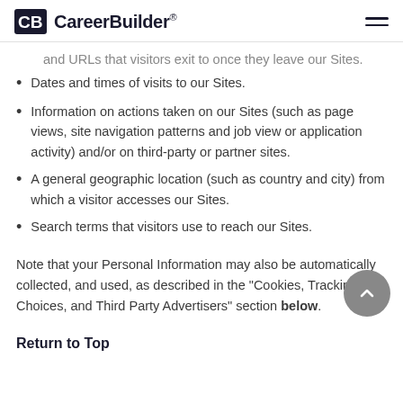CareerBuilder®
and URLs that visitors exit to once they leave our Sites.
Dates and times of visits to our Sites.
Information on actions taken on our Sites (such as page views, site navigation patterns and job view or application activity) and/or on third-party or partner sites.
A general geographic location (such as country and city) from which a visitor accesses our Sites.
Search terms that visitors use to reach our Sites.
Note that your Personal Information may also be automatically collected, and used, as described in the "Cookies, Tracking Choices, and Third Party Advertisers" section below.
Return to Top